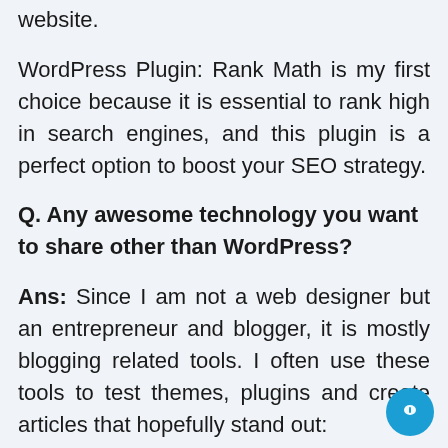website.
WordPress Plugin: Rank Math is my first choice because it is essential to rank high in search engines, and this plugin is a perfect option to boost your SEO strategy.
Q. Any awesome technology you want to share other than WordPress?
Ans: Since I am not a web designer but an entrepreneur and blogger, it is mostly blogging related tools. I often use these tools to test themes, plugins and create articles that hopefully stand out: